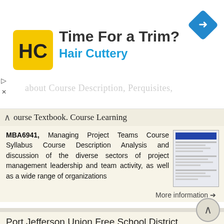[Figure (other): Hair Cuttery advertisement banner with logo, 'Time For a Trim?' heading, and navigation icon]
about Course Description, Perquisites, Course Textbook. Course Learning
MBA6941, Managing Project Teams Course Syllabus Course Description Analysis and discussion of the diverse sectors of project management leadership and team activity, as well as a wide range of organizations
More information →
Port Jefferson Union Free School District. Response to Intervention (RtI) and Academic Intervention Services (AIS) PLAN
Port Jefferson Union Free School District Response to Intervention (RtI) and